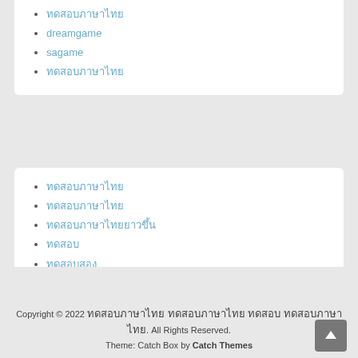ทดสอบภาษาไทย
dreamgame
sagame
ทดสอบภาษาไทย
ทดสอบภาษาไทย
ทดสอบภาษาไทย
ทดสอบภาษาไทยยาวขึ้น
ทดสอบ
ทดสอบสอง
ทดสอบสาม
ทดสอบภาษา
ทดสอบภาษาไทย
ทดสอบสอง
ทดสอบ
Copyright © 2022 ทดสอบภาษาไทย ทดสอบภาษาไทย ทดสอบ ทดสอบภาษาไทย. All Rights Reserved. Theme: Catch Box by Catch Themes